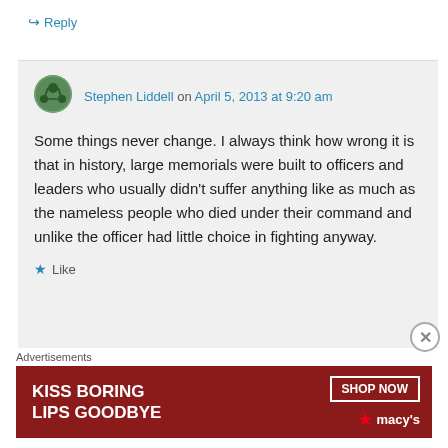↪ Reply
Stephen Liddell on April 5, 2013 at 9:20 am
Some things never change. I always think how wrong it is that in history, large memorials were built to officers and leaders who usually didn't suffer anything like as much as the nameless people who died under their command and unlike the officer had little choice in fighting anyway.
★ Like
Advertisements
[Figure (photo): Macy's advertisement banner with text KISS BORING LIPS GOODBYE and SHOP NOW button on dark red background]